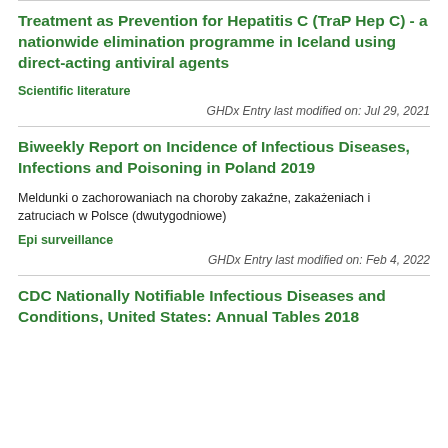Treatment as Prevention for Hepatitis C (TraP Hep C) - a nationwide elimination programme in Iceland using direct-acting antiviral agents
Scientific literature
GHDx Entry last modified on: Jul 29, 2021
Biweekly Report on Incidence of Infectious Diseases, Infections and Poisoning in Poland 2019
Meldunki o zachorowaniach na choroby zakaźne, zakażeniach i zatruciach w Polsce (dwutygodniowe)
Epi surveillance
GHDx Entry last modified on: Feb 4, 2022
CDC Nationally Notifiable Infectious Diseases and Conditions, United States: Annual Tables 2018